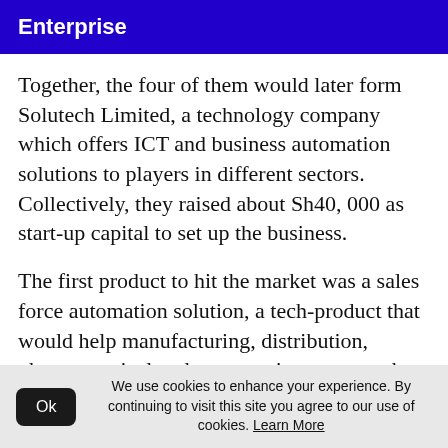Enterprise
Together, the four of them would later form Solutech Limited, a technology company which offers ICT and business automation solutions to players in different sectors. Collectively, they raised about Sh40, 000 as start-up capital to set up the business.
The first product to hit the market was a sales force automation solution, a tech-product that would help manufacturing, distribution, pharmaceutical and construction among other fast moving consumer goods companies to
We use cookies to enhance your experience. By continuing to visit this site you agree to our use of cookies. Learn More